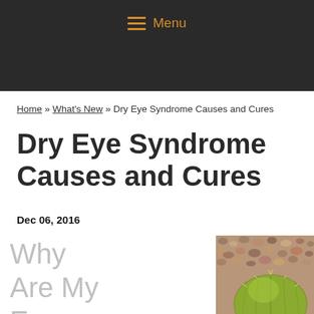Menu
Home » What's New » Dry Eye Syndrome Causes and Cures
Dry Eye Syndrome Causes and Cures
Dec 06, 2016
Why Are My Eyes So
[Figure (photo): A close-up photo of a yellow-green barrel cactus surrounded by small pebbles and gravel on the ground.]